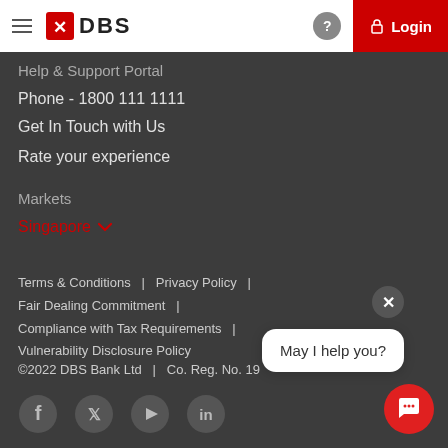DBS Bank - Login
Help & Support Portal
Phone - 1800 111 1111
Get In Touch with Us
Rate your experience
Markets
Singapore
Terms & Conditions  |  Privacy Policy  |  Fair Dealing Commitment  |  Compliance with Tax Requirements  |  Vulnerability Disclosure Policy
©2022 DBS Bank Ltd  |  Co. Reg. No. 19...
[Figure (infographic): Social media icons: Facebook, Twitter, YouTube, LinkedIn]
May I help you?